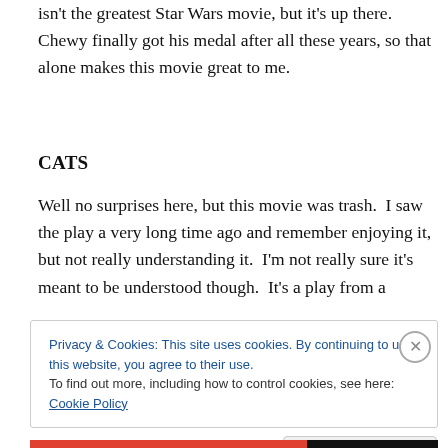isn't the greatest Star Wars movie, but it's up there. Chewy finally got his medal after all these years, so that alone makes this movie great to me.
CATS
Well no surprises here, but this movie was trash.  I saw the play a very long time ago and remember enjoying it, but not really understanding it.  I'm not really sure it's meant to be understood though.  It's a play from a
Privacy & Cookies: This site uses cookies. By continuing to use this website, you agree to their use.
To find out more, including how to control cookies, see here: Cookie Policy
Close and accept